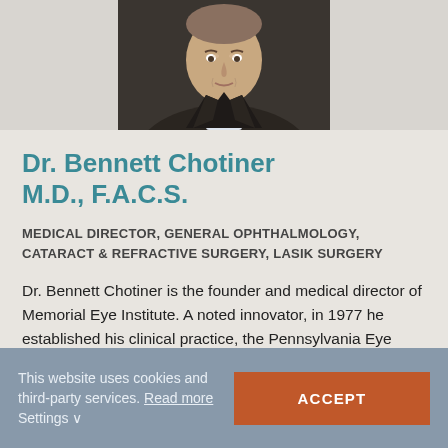[Figure (photo): Professional headshot of Dr. Bennett Chotiner in a dark suit and red tie]
Dr. Bennett Chotiner M.D., F.A.C.S.
MEDICAL DIRECTOR, GENERAL OPHTHALMOLOGY, CATARACT & REFRACTIVE SURGERY, LASIK SURGERY
Dr. Bennett Chotiner is the founder and medical director of Memorial Eye Institute. A noted innovator, in 1977 he established his clinical practice, the Pennsylvania Eye
This website uses cookies and third-party services. Read more Settings ∨
ACCEPT